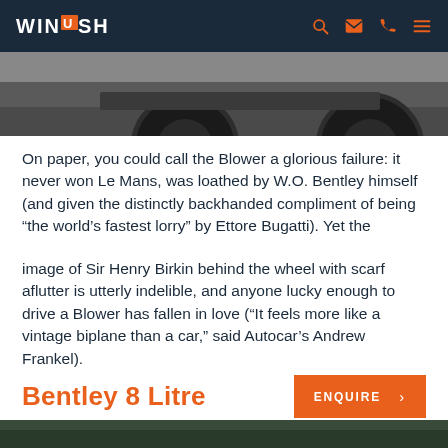WINDRUSH
[Figure (photo): Bottom portion of a classic car showing wheels and undercarriage on tarmac, black and white/dark tones]
On paper, you could call the Blower a glorious failure: it never won Le Mans, was loathed by W.O. Bentley himself (and given the distinctly backhanded compliment of being “the world’s fastest lorry” by Ettore Bugatti). Yet the
image of Sir Henry Birkin behind the wheel with scarf aflutter is utterly indelible, and anyone lucky enough to drive a Blower has fallen in love (“It feels more like a vintage biplane than a car,” said Autocar’s Andrew Frankel).
Bentley 8 Litre
[Figure (photo): Bottom navigation strip showing partial image of a car]